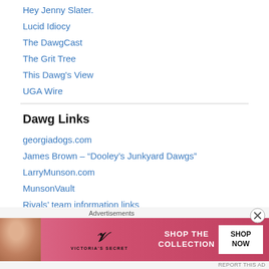Hey Jenny Slater.
Lucid Idiocy
The DawgCast
The Grit Tree
This Dawg's View
UGA Wire
Dawg Links
georgiadogs.com
James Brown – “Dooley’s Junkyard Dawgs”
LarryMunson.com
MunsonVault
Rivals’ team information links
The Dawgbone
[Figure (screenshot): Victoria's Secret advertisement banner with pink background, model photo, VS logo, 'SHOP THE COLLECTION' text, and 'SHOP NOW' button. Labeled 'Advertisements' above.]